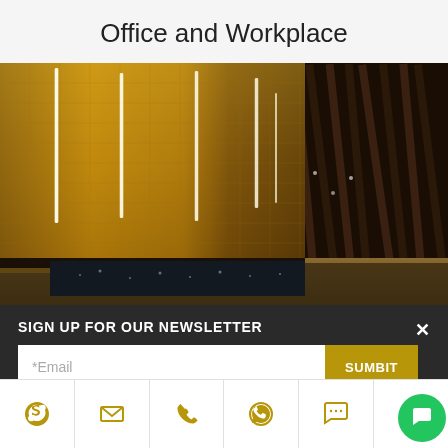Office and Workplace
[Figure (photo): Interior photo of a luxury office or hotel lobby featuring a golden illuminated wall with hanging vertical light strips and wooden slat ceiling detail]
SIGN UP FOR OUR NEWSLETTER
[Figure (screenshot): Newsletter signup form with email input field and SUMBIT button]
[Figure (infographic): Icon bar at bottom with social/contact icons: Skype, email/envelope, phone, WhatsApp, chat bubble, and a green chat button]